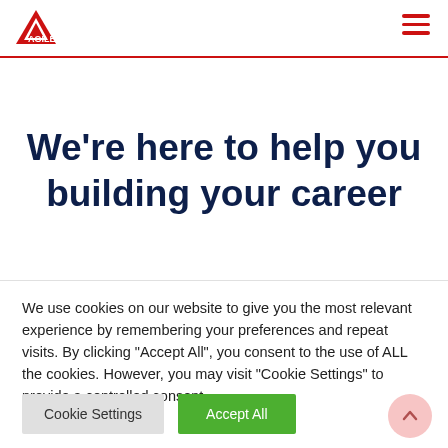Agile logo and navigation header
We're here to help you building your career
We use cookies on our website to give you the most relevant experience by remembering your preferences and repeat visits. By clicking "Accept All", you consent to the use of ALL the cookies. However, you may visit "Cookie Settings" to provide a controlled consent.
Cookie Settings
Accept All